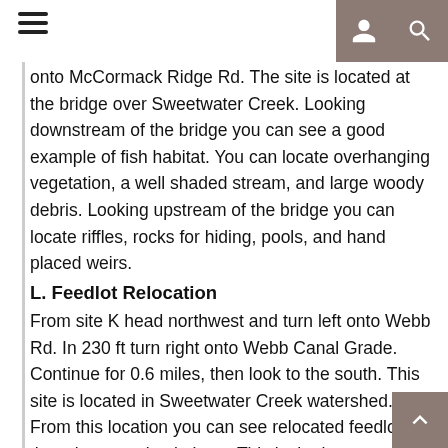[Hamburger menu icon] [User icon] [Search icon]
onto McCormack Ridge Rd. The site is located at the bridge over Sweetwater Creek. Looking downstream of the bridge you can see a good example of fish habitat. You can locate overhanging vegetation, a well shaded stream, and large woody debris. Looking upstream of the bridge you can locate riffles, rocks for hiding, pools, and hand placed weirs.
L. Feedlot Relocation
From site K head northwest and turn left onto Webb Rd. In 230 ft turn right onto Webb Canal Grade. Continue for 0.6 miles, then look to the south. This site is located in Sweetwater Creek watershed. From this location you can see relocated feedlot, there is a metal pole barn. This is the hay storage and winter feeding area for a 55 cow operation. This used to be in the riparian area up McCormick Ridge Rd.